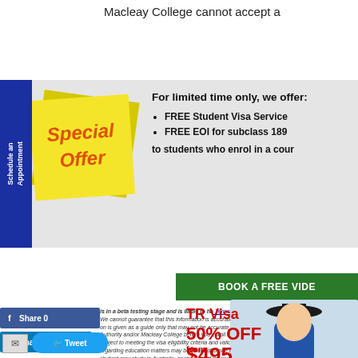Macleay College cannot accept a
[Figure (infographic): Yellow sticky note with 'Special Offer' text in orange italic font on a yellow square background]
Schedule an Appointment
For limited time only, we offer:
FREE Student Visa Service
FREE EOI for subclass 189
to students who enrol in a cour
BOOK A FREE VIDEO
is in a beta testing stage and is liable to have errors. We cannot guarantee that this information is accurate, complete or current. Please Terms of Use
on is given as a guide only that may not be accurate, complete or current. should Authority and/or Macleay College before you enroll this cour
subject to meeting the visa eligibility criteria and valid for one year after meeting the regarding education matters may be referred to one of our business partners and essed e student may study in Australia, spend a lot of money but f
[Figure (photo): Graduate student in cap and gown giving thumbs up, with TR Visa 50% OFF from $495 text overlay in red]